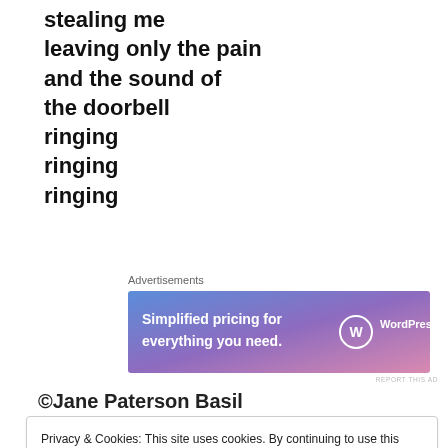stealing me
leaving only the pain
and the sound of
the doorbell
ringing
ringing
ringing
Advertisements
[Figure (other): WordPress.com advertisement banner: 'Simplified pricing for everything you need.' with WordPress.com logo on blue-to-pink gradient background]
REPORT THIS AD
©Jane Paterson Basil
Privacy & Cookies: This site uses cookies. By continuing to use this website, you agree to their use.
To find out more, including how to control cookies, see here: Cookie Policy

Close and accept